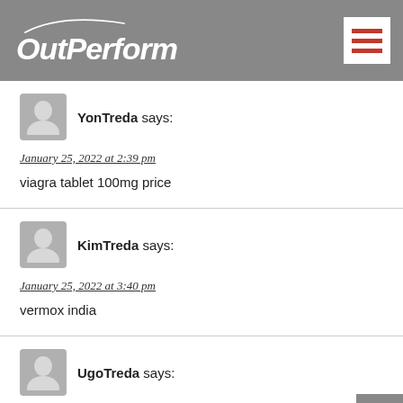OutPerform
YonTreda says:
January 25, 2022 at 2:39 pm
viagra tablet 100mg price
KimTreda says:
January 25, 2022 at 3:40 pm
vermox india
UgoTreda says:
January 25, 2022 at 4:48 pm